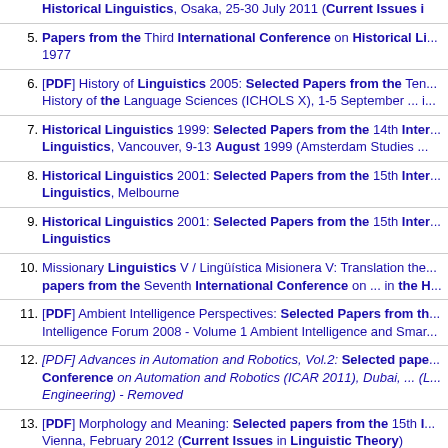Historical Linguistics, Osaka, 25-30 July 2011 (Current Issues i...
5. Papers from the Third International Conference on Historical Li... 1977
6. [PDF] History of Linguistics 2005: Selected Papers from the Ten... History of the Language Sciences (ICHOLS X), 1-5 September ... i...
7. Historical Linguistics 1999: Selected Papers from the 14th Inter... Linguistics, Vancouver, 9-13 August 1999 (Amsterdam Studies ...
8. Historical Linguistics 2001: Selected Papers from the 15th Inter... Linguistics, Melbourne
9. Historical Linguistics 2001: Selected Papers from the 15th Inter... Linguistics
10. Missionary Linguistics V / Lingüística Misionera V: Translation the... papers from the Seventh International Conference on ... in the H...
11. [PDF] Ambient Intelligence Perspectives: Selected Papers from th... Intelligence Forum 2008 - Volume 1 Ambient Intelligence and Smar...
12. [PDF] Advances in Automation and Robotics, Vol.2: Selected pape... Conference on Automation and Robotics (ICAR 2011), Dubai, ... (L... Engineering) - Removed
13. [PDF] Morphology and Meaning: Selected papers from the 15th I... Vienna, February 2012 (Current Issues in Linguistic Theory)
14. [PDF] Advances in Materials and Processing Technologies XVI: Sel... the 16th International Conference on Advanced Materials and ...
15. [PDF] Electrical Power Systems and Computers: Selected Paper...